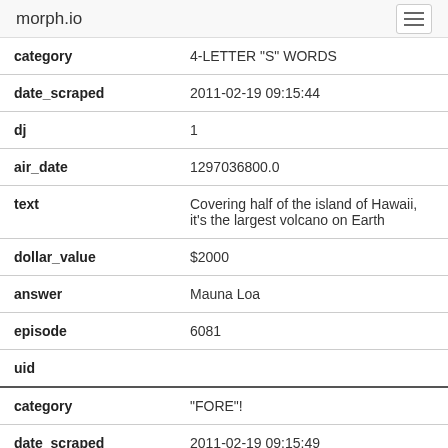morph.io
| field | value |
| --- | --- |
| category | 4-LETTER "S" WORDS |
| date_scraped | 2011-02-19 09:15:44 |
| dj | 1 |
| air_date | 1297036800.0 |
| text | Covering half of the island of Hawaii, it's the largest volcano on Earth |
| dollar_value | $2000 |
| answer | Mauna Loa |
| episode | 6081 |
| uid |  |
| category | "FORE"! |
| date_scraped | 2011-02-19 09:15:49 |